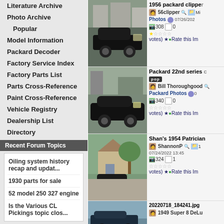Literature Archive
Photo Archive
Popular
Model Information
Packard Decoder
Factory Service Index
Factory Parts List
Parts Cross-Reference
Paint Cross-Reference
Vehicle Registry
Dealership List
Directory
Recent Forum Topics
Oiling system history recap and updat...
1930 parts for sale
52 model 250 327 engine
Is the Various CL Pickings topic clos...
[Figure (photo): Classic black Packard car parked in driveway, side view]
1956 packard clipper
56clipper
Mi
Photos 07/26/202
308 0
votes) Rate this Im
[Figure (photo): Classic black Packard 22nd series convertible in parking area]
Packard 22nd series
pop
Bill Thoroughgood
Packard Photos
340 0
votes) Rate this Im
[Figure (photo): Shan's 1954 Patrician parked in driveway with house and tree in background]
Shan's 1954 Patrician
ShannonP 1
07/24/2022 13:45
324 1
votes) Rate this Im
[Figure (photo): Blue classic Packard car, partial view]
20220718_184241.jpg
1949 Super 8 DeLu